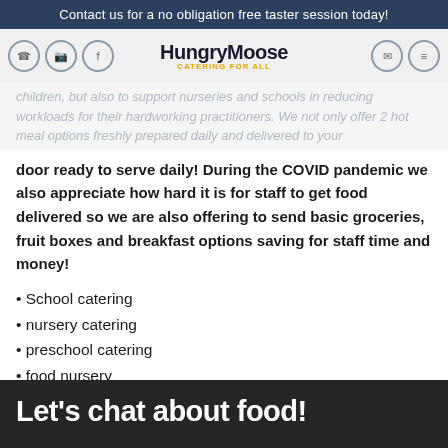Contact us for a no obligation free taster session today!
children, but also to support nurseries and schools in reducing workloads for their hardworking practitioners. We not only offer 2 hot meal options freshly prepared daily and delivered to your door ready to serve daily! During the COVID pandemic we also appreciate how hard it is for staff to get food delivered so we are also offering to send basic groceries, fruit boxes and breakfast options saving for staff time and money!
School catering
nursery catering
preschool catering
food nursery
food preschool
food school
Let's chat about food!